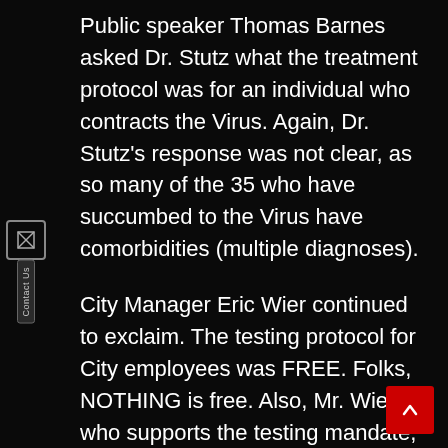Public speaker Thomas Barnes asked Dr. Stutz what the treatment protocol was for an individual who contracts the Virus. Again, Dr. Stutz's response was not clear, as so many of the 35 who have succumbed to the Virus have comorbidities (multiple diagnoses).
City Manager Eric Wier continued to exclaim. The testing protocol for City employees was FREE. Folks, NOTHING is free. Also, Mr. Wier who supports the testing mandate, did not tell you, when an employee is hired, there is no condition required that the employee be weekly tested, as a requirement to